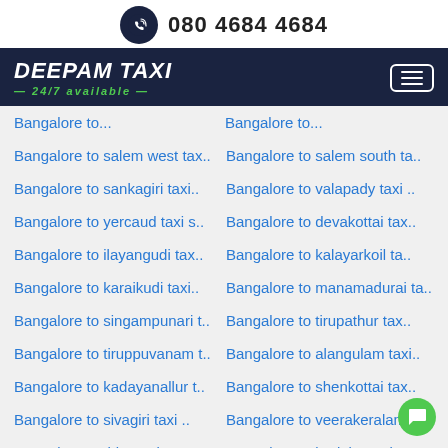080 4684 4684
[Figure (logo): Deepam Taxi logo with 24/7 available tagline and hamburger menu on dark navy background]
Bangalore to salem west tax..
Bangalore to salem south ta..
Bangalore to sankagiri taxi..
Bangalore to valapady taxi ..
Bangalore to yercaud taxi s..
Bangalore to devakottai tax..
Bangalore to ilayangudi tax..
Bangalore to kalayarkoil ta..
Bangalore to karaikudi taxi..
Bangalore to manamadurai ta..
Bangalore to singampunari t..
Bangalore to tirupathur tax..
Bangalore to tiruppuvanam t..
Bangalore to alangulam taxi..
Bangalore to kadayanallur t..
Bangalore to shenkottai tax..
Bangalore to sivagiri taxi ..
Bangalore to veerakeralampu..
Bangalore to thiruvenkatam ..
Bangalore to budalur taxi s..
Bangalore to kumbakonam tax..
Bangalore to orathanadu tax
Bangalore to papanasam taxi..
Bangalore to pattukkottai t..